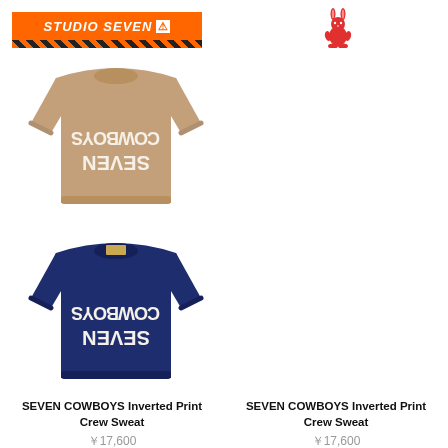[Figure (logo): Studio Seven orange banner logo with warning triangle and diagonal stripe pattern below]
[Figure (illustration): Small red rabbit/bunny character logo in top right area]
[Figure (photo): Tan/brown crewneck sweatshirt with inverted SEVEN COWBOYS text on back]
SEVEN COWBOYS Inverted Print Crew Sweat
¥17,600
[Figure (photo): Navy blue crewneck sweatshirt with inverted SEVEN COWBOYS text on back]
SEVEN COWBOYS Inverted Print Crew Sweat
¥17,600
[Figure (photo): White and dark green horizontal striped crewneck sweatshirt with orange collar tag]
[Figure (photo): Brown and grey horizontal striped crewneck sweatshirt with rust/brown collar]